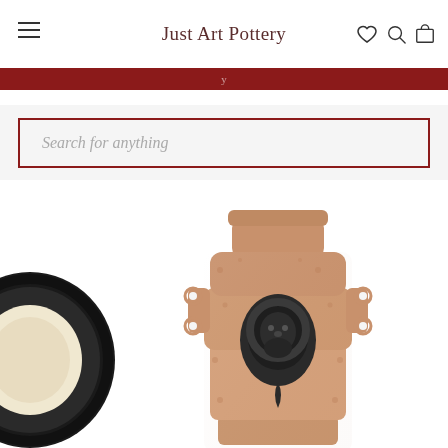Just Art Pottery
[Figure (screenshot): Website screenshot of Just Art Pottery e-commerce page showing navigation header with hamburger menu, site title 'Just Art Pottery', heart/search/cart icons, a dark red promotional banner, a search input field with placeholder text 'Search for anything', and product images including a partial dark circular item on the left and an ornate peach/salmon colored ceramic vase with lion face medallion and pierced handles in the center.]